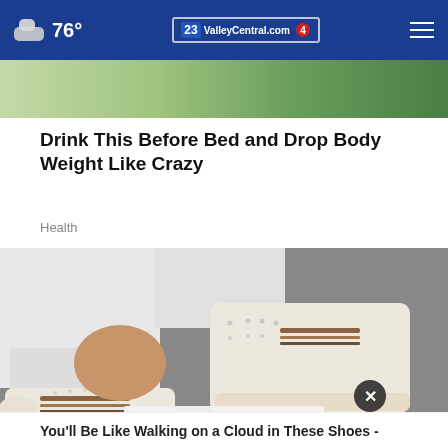76° ValleyCentral.com 23 4
[Figure (screenshot): Partial top image showing green nature background]
Drink This Before Bed and Drop Body Weight Like Crazy
Health
[Figure (photo): Close-up photo of white perforated slip-on shoes/sneakers with brown stripe accents and rope-like soles, worn by a person in white jeans]
You'll Be Like Walking on a Cloud in These Shoes -